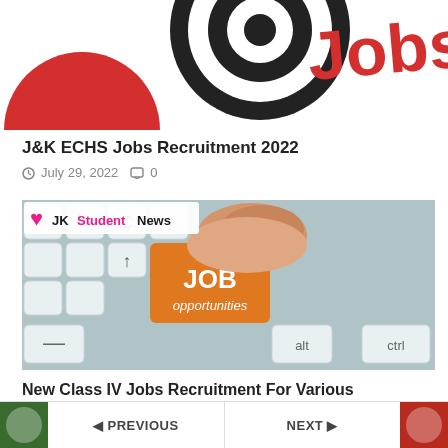[Figure (photo): Partial top-cropped image showing red and black target/bullseye 3D graphic with 'Jobs' text in red, partially visible at top of page]
J&K ECHS Jobs Recruitment 2022
July 29, 2022   0
[Figure (photo): Photo of a keyboard with an orange key labeled 'JOB opportunities' being pressed by a finger, with 'JK Student News' logo overlay in top-left corner]
New Class IV Jobs Recruitment For Various Posts Check Eligibility And Apply
July 28, 2022   0
PREVIOUS   NEXT